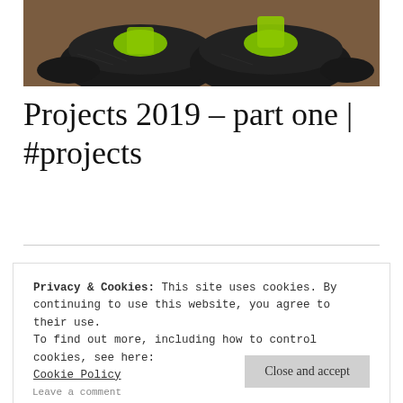[Figure (photo): Photo of dark green/black athletic shoes viewed from above, on a brownish surface, cropped at top]
Projects 2019 – part one | #projects
Privacy & Cookies: This site uses cookies. By continuing to use this website, you agree to their use.
To find out more, including how to control cookies, see here:
Cookie Policy
Close and accept
Leave a comment